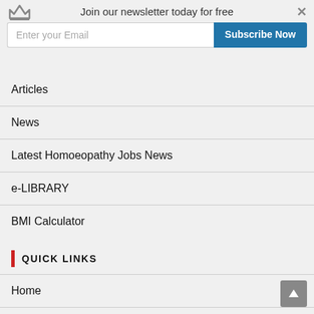Join our newsletter today for free
Enter your Email
Subscribe Now
Articles
News
Latest Homoeopathy Jobs News
e-LIBRARY
BMI Calculator
QUICK LINKS
Home
About
Contact Us
Privacy Policy